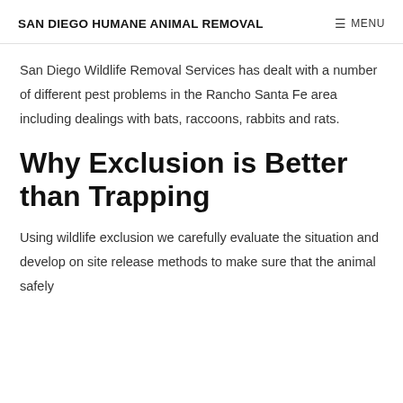SAN DIEGO HUMANE ANIMAL REMOVAL  ≡ MENU
San Diego Wildlife Removal Services has dealt with a number of different pest problems in the Rancho Santa Fe area including dealings with bats, raccoons, rabbits and rats.
Why Exclusion is Better than Trapping
Using wildlife exclusion we carefully evaluate the situation and develop on site release methods to make sure that the animal safely